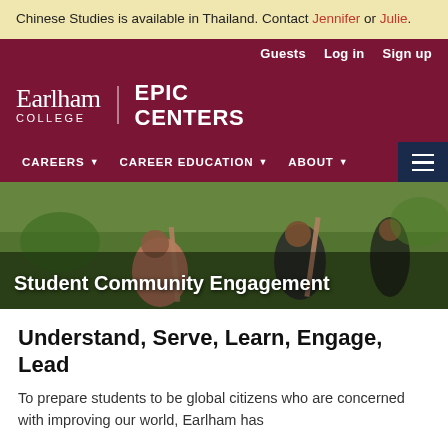Chinese Studies is available in Thailand. Contact Jennifer or Julie.
Guests  Log in  Sign up
Earlham College | EPIC CENTERS
CAREERS  CAREER EDUCATION  ABOUT
[Figure (photo): Students working in a community garden, digging with tools outdoors. Text overlay reads: Student Community Engagement]
Understand, Serve, Learn, Engage, Lead
To prepare students to be global citizens who are concerned with improving our world, Earlham has